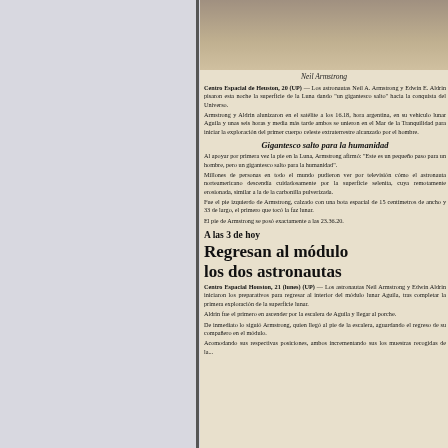[Figure (photo): Photograph of Neil Armstrong in spacesuit]
Neil Armstrong
Centro Espacial de Houston, 20 (UP) — Los astronautas Neil A. Armstrong y Edwin E. Aldrin pisaron esta noche la superficie de la Luna dando "un gigantesco salto" hacia la conquista del Universo.
Armstrong y Aldrin alunizaron en el satélite a los 16.18, hora argentina, en su vehículo lunar Aguila y unas seis horas y media más tarde ambos se unieron en el Mar de la Tranquilidad para iniciar la exploración del primer cuerpo celeste extraterrestre alcanzado por el hombre.
Gigantesco salto para la humanidad
Al apoyar por primera vez la pie en la Luna, Armstrong afirmó: "Este es un pequeño paso para un hombre, pero un gigantesco salto para la humanidad".
Millones de personas en todo el mundo pudieron ver por televisión cómo el astronauta norteamericano descendía cuidadosamente por la superficie selenita, cuya remotamente erosionada, similar a la de la carbonilla pulverizada.
Fue el pie izquierdo de Armstrong, calzado con una bota espacial de 15 centímetros de ancho y 33 de largo, el primero que tocó la faz lunar.
El pie de Armstrong se posó exactamente a las 23.36.20.
A las 3 de hoy
Regresan al módulo los dos astronautas
Centro Espacial Houston, 21 (lunes) (UP) — Los astronautas Neil Armstrong y Edwin Aldrin iniciaron los preparativos para regresar al interior del módulo lunar Aguila, tras completar la primera exploración de la superficie lunar.
Aldrin fue el primero en ascender por la escalera de Aguila y llegar al porche.
De inmediato lo siguió Armstrong, quien llegó al pie de la escalera, aguardando el regreso de su compañero en el módulo.
Acomodando sus respectivas posiciones, ambos incrementando sus las muestras recogidas de la...